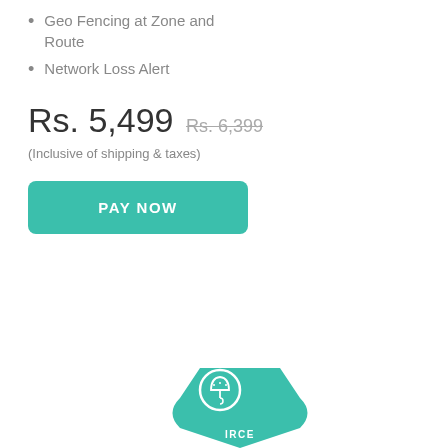Geo Fencing at Zone and Route
Network Loss Alert
Rs. 5,499 Rs. 6,399
(Inclusive of shipping & taxes)
PAY NOW
[Figure (illustration): Teal puzzle piece shape with an umbrella/protection icon circle and partial IRCC text label at the bottom of the page]